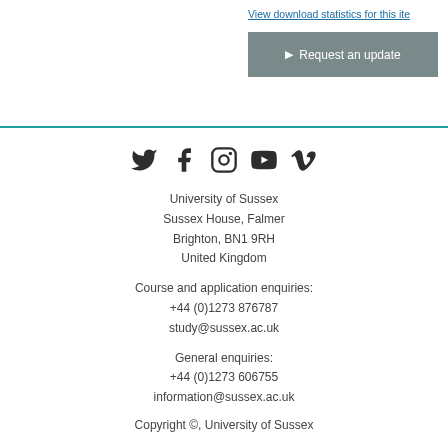View download statistics for this item
Request an update
[Figure (other): Social media icons: Twitter, Facebook, Instagram, YouTube, Vimeo]
University of Sussex
Sussex House, Falmer
Brighton, BN1 9RH
United Kingdom
Course and application enquiries:
+44 (0)1273 876787
study@sussex.ac.uk
General enquiries:
+44 (0)1273 606755
information@sussex.ac.uk
Copyright ©, University of Sussex